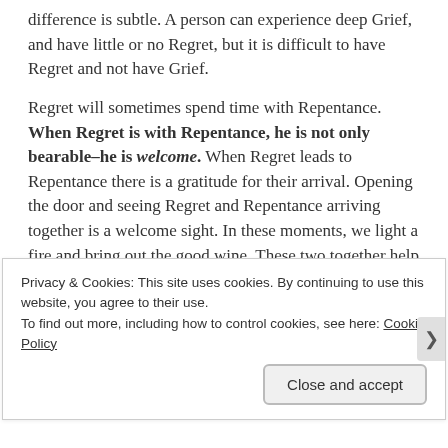difference is subtle. A person can experience deep Grief, and have little or no Regret, but it is difficult to have Regret and not have Grief.
Regret will sometimes spend time with Repentance. When Regret is with Repentance, he is not only bearable–he is welcome. When Regret leads to Repentance there is a gratitude for their arrival. Opening the door and seeing Regret and Repentance arriving together is a welcome sight. In these moments, we light a fire and bring out the good wine. These two together help to restore
Privacy & Cookies: This site uses cookies. By continuing to use this website, you agree to their use.
To find out more, including how to control cookies, see here: Cookie Policy
Close and accept